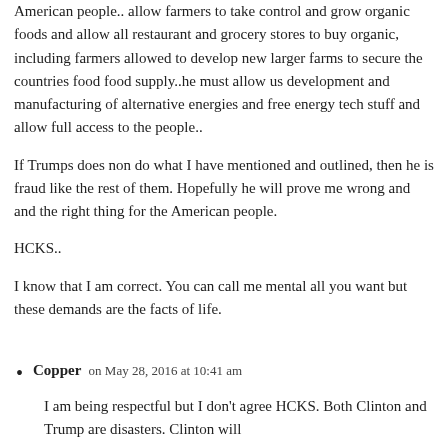American people.. allow farmers to take control and grow organic foods and allow all restaurant and grocery stores to buy organic, including farmers allowed to develop new larger farms to secure the countries food food supply..he must allow us development and manufacturing of alternative energies and free energy tech stuff and allow full access to the people..
If Trumps does non do what I have mentioned and outlined, then he is fraud like the rest of them. Hopefully he will prove me wrong and and the right thing for the American people.
HCKS..
I know that I am correct. You can call me mental all you want but these demands are the facts of life.
Copper on May 28, 2016 at 10:41 am
I am being respectful but I don't agree HCKS. Both Clinton and Trump are disasters. Clinton will